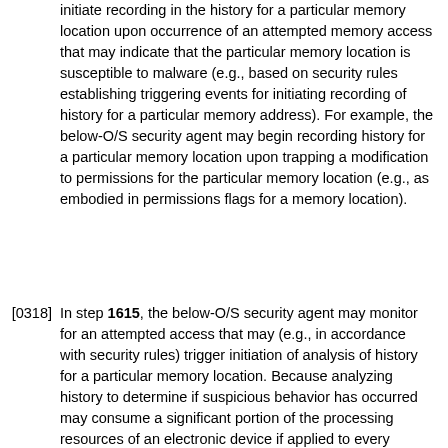initiate recording in the history for a particular memory location upon occurrence of an attempted memory access that may indicate that the particular memory location is susceptible to malware (e.g., based on security rules establishing triggering events for initiating recording of history for a particular memory address). For example, the below-O/S security agent may begin recording history for a particular memory location upon trapping a modification to permissions for the particular memory location (e.g., as embodied in permissions flags for a memory location).
[0318] In step 1615, the below-O/S security agent may monitor for an attempted access that may (e.g., in accordance with security rules) trigger initiation of analysis of history for a particular memory location. Because analyzing history to determine if suspicious behavior has occurred may consume a significant portion of the processing resources of an electronic device if applied to every memory location and/or attempted access, the below-O/S security agent may initiate an